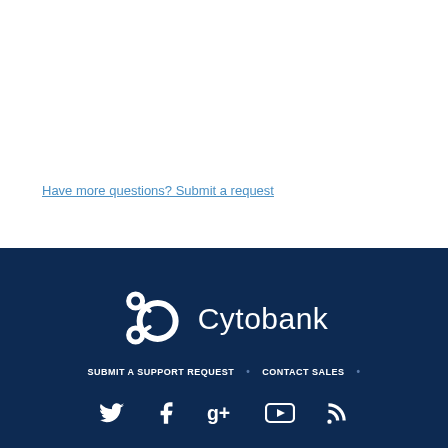Have more questions? Submit a request
[Figure (logo): Cytobank logo — white circular molecule icon with text 'Cytobank' on dark navy background]
SUBMIT A SUPPORT REQUEST • CONTACT SALES •
[Figure (infographic): Social media icons: Twitter, Facebook, Google+, YouTube, RSS — white icons on dark navy background]